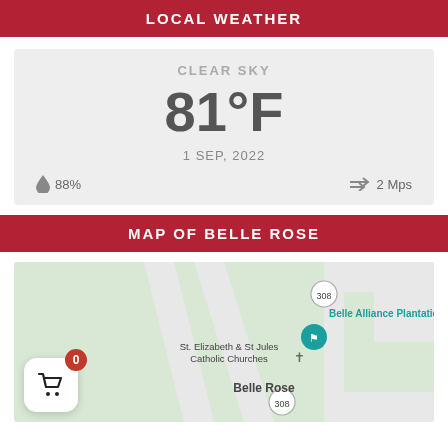LOCAL WEATHER
CLEAR SKY
81°F
1 SEP, 2022
💧 88%   ⇄ 2 Mps
MAP OF BELLE ROSE
[Figure (map): Map of Belle Rose area showing St. Elizabeth & St Jules Catholic Churches, Belle Alliance Plantation, route 308, and a shopping cart icon with badge showing 0]